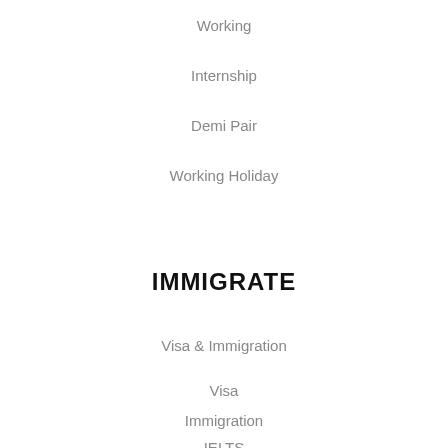Working
Internship
Demi Pair
Working Holiday
IMMIGRATE
Visa & Immigration
Visa
Immigration
IELTS